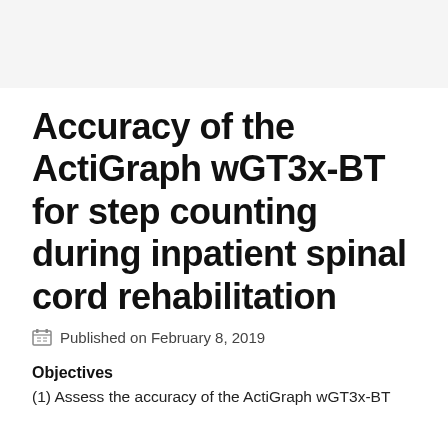Accuracy of the ActiGraph wGT3x-BT for step counting during inpatient spinal cord rehabilitation
Published on February 8, 2019
Objectives
(1) Assess the accuracy of the ActiGraph wGT3x-BT accelerometer step counter during walking with